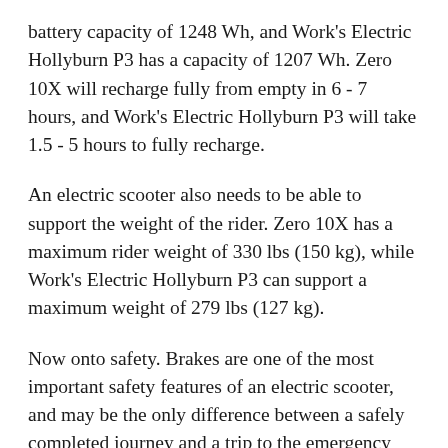battery capacity of 1248 Wh, and Work's Electric Hollyburn P3 has a capacity of 1207 Wh. Zero 10X will recharge fully from empty in 6 - 7 hours, and Work's Electric Hollyburn P3 will take 1.5 - 5 hours to fully recharge.
An electric scooter also needs to be able to support the weight of the rider. Zero 10X has a maximum rider weight of 330 lbs (150 kg), while Work's Electric Hollyburn P3 can support a maximum weight of 279 lbs (127 kg).
Now onto safety. Brakes are one of the most important safety features of an electric scooter, and may be the only difference between a safely completed journey and a trip to the emergency